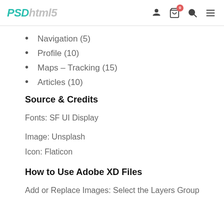PSDhtml5 [navigation icons]
Navigation (5)
Profile (10)
Maps – Tracking (15)
Articles (10)
Source & Credits
Fonts: SF UI Display
Image: Unsplash
Icon: Flaticon
How to Use Adobe XD Files
Add or Replace Images: Select the Layers Group